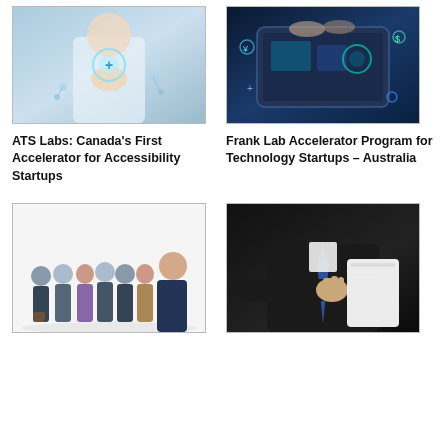[Figure (photo): Doctor or medical professional in white coat holding a glowing digital health/medical icon with technology symbols]
ATS Labs: Canada's First Accelerator for Accessibility Startups
[Figure (photo): Hands interacting with a digital tablet showing fintech/currency symbols and technology icons floating around]
Frank Lab Accelerator Program for Technology Startups – Australia
[Figure (photo): Group of business professionals standing together (team photo) with a woman in foreground]
[Figure (photo): Business person in suit extending hand for handshake while holding white documents/folder]